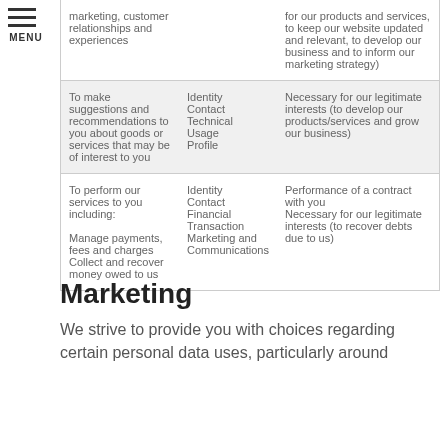| Purpose/Activity | Type of data | Lawful basis for processing |
| --- | --- | --- |
| marketing, customer relationships and experiences |  | for our products and services, to keep our website updated and relevant, to develop our business and to inform our marketing strategy) |
| To make suggestions and recommendations to you about goods or services that may be of interest to you | Identity
Contact
Technical
Usage
Profile | Necessary for our legitimate interests (to develop our products/services and grow our business) |
| To perform our services to you including:

Manage payments, fees and charges
Collect and recover money owed to us | Identity
Contact
Financial
Transaction
Marketing and Communications | Performance of a contract with you
Necessary for our legitimate interests (to recover debts due to us) |
Marketing
We strive to provide you with choices regarding certain personal data uses, particularly around